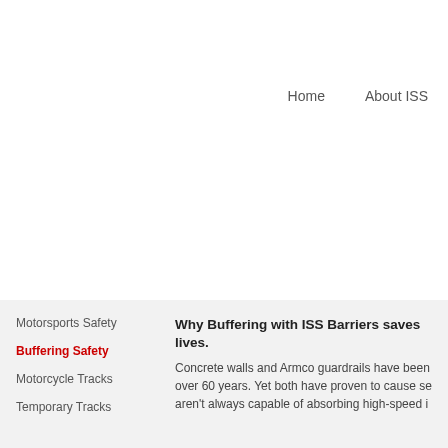Home   About ISS
Motorsports Safety
Buffering Safety
Motorcycle Tracks
Temporary Tracks
Why Buffering with ISS Barriers saves lives.
Concrete walls and Armco guardrails have been over 60 years. Yet both have proven to cause se aren't always capable of absorbing high-speed i